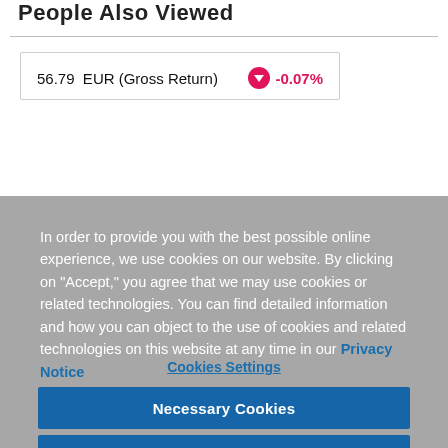People Also Viewed
56.79  EUR (Gross Return)   -0.07%
In order to provide you with the best possible online experience, we use cookies on our website. By clicking on "Accept," you agree that we may use cookies or related technologies. You can find detailed information and how you can object to the use of cookies and related technologies on this website at any time in our Privacy Notice
Cookies Settings
Necessary Cookies
Accept All Cookies